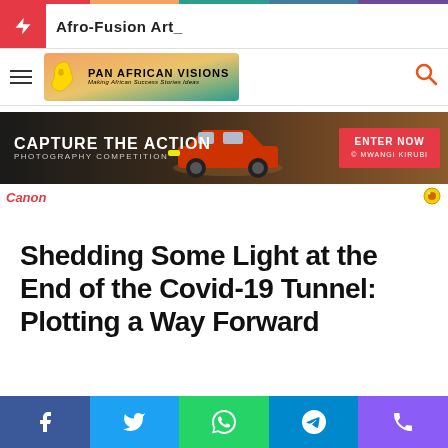Afro-Fusion Art_
[Figure (logo): Pan African Visions logo with Africa silhouette and tagline]
[Figure (infographic): Canon 'Capture the Action Photography Competition - Enter Now' advertisement banner]
Shedding Some Light at the End of the Covid-19 Tunnel: Plotting a Way Forward
[Figure (infographic): Social sharing buttons: Facebook, Twitter, WhatsApp, Telegram, Phone]